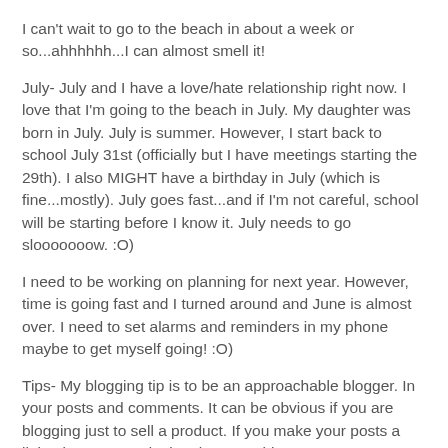I can't wait to go to the beach in about a week or so...ahhhhhh...I can almost smell it!
July- July and I have a love/hate relationship right now.  I love that I'm going to the beach in July.  My daughter was born in July.  July is summer.  However, I start back to school July 31st (officially but I have meetings starting the 29th).  I also MIGHT have a birthday in July (which is fine...mostly).  July goes fast...and if I'm not careful, school will be starting before I know it.  July needs to go slooooooow.  :O)
I need to be working on planning for next year.  However, time is going fast and I turned around and June is almost over.  I need to set alarms and reminders in my phone maybe to get myself going!  :O)
Tips- My blogging tip is to be an approachable blogger.  In your posts and comments.  It can be obvious if you are blogging just to sell a product.  If you make your posts a little about you and a lot about teaching, you're more approachable.  And, that includes in comments.  If you